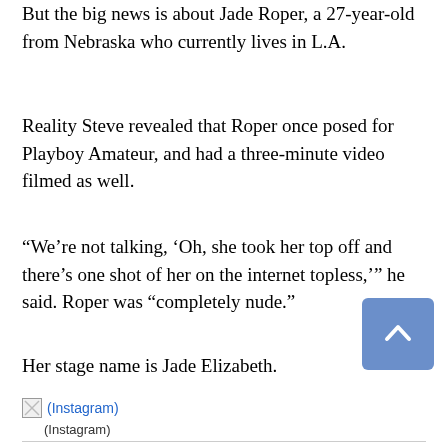But the big news is about Jade Roper, a 27-year-old from Nebraska who currently lives in L.A.
Reality Steve revealed that Roper once posed for Playboy Amateur, and had a three-minute video filmed as well.
“We’re not talking, ‘Oh, she took her top off and there’s one shot of her on the internet topless,’” he said. Roper was “completely nude.”
Her stage name is Jade Elizabeth.
[Figure (other): Instagram image placeholder with broken image icon and text '(Instagram)']
(Instagram)
MOST READ
DOJ Responds to Trump’s Request